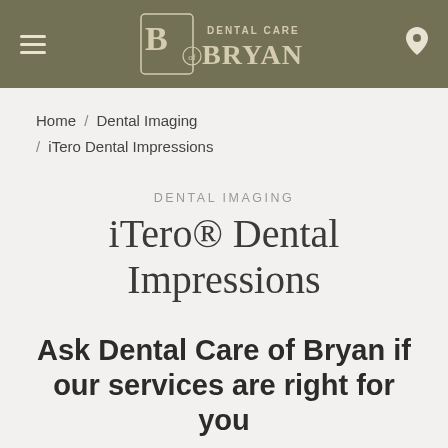Dental Care of Bryan
Home / Dental Imaging / iTero Dental Impressions
DENTAL IMAGING
iTero® Dental Impressions
Ask Dental Care of Bryan if our services are right for you